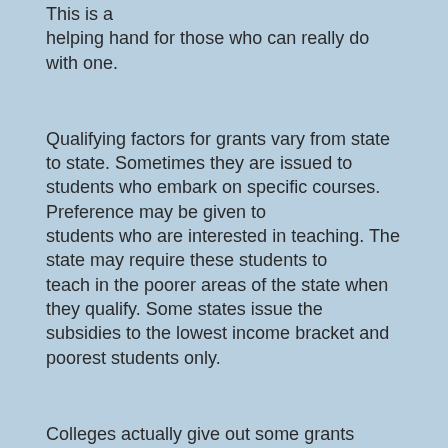This is a helping hand for those who can really do with one.
Qualifying factors for grants vary from state to state. Sometimes they are issued to students who embark on specific courses. Preference may be given to students who are interested in teaching. The state may require these students to teach in the poorer areas of the state when they qualify. Some states issue the subsidies to the lowest income bracket and poorest students only.
Colleges actually give out some grants themselves. They sometimes do this to attract certain students or to just get more students in general to apply to the school. Other times they are given out when there isn't enough federal or state funds available.
Certain grants are available only for graduate students or those getting their doctoral degrees. Colleges are very competitive